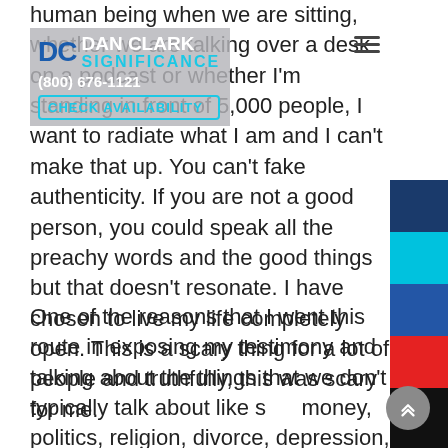[Figure (logo): Dan Clark Significance logo with phone number (800) 676-1121 and Check Availability button, overlaid on gray background]
human being when we are sitting, whether we are talking over a desk on a podcast or whether I'm standing in front of 5,000 people, I want to radiate what I am and I can't make that up. You can't fake authenticity. If you are not a good person, you could speak all the preachy words and the good things but that doesn't resonate. I have chosen to live my life completely open. This is a scary thing for a lot of people and truthfully, this was scary for me.
One of the reasons that I went this route in exposing my testimony and talking about the things that we don't typically talk about like sex, money, politics, religion, divorce, depression, suicide, all these taboo topics that no one wants to address or talk about because it's not socially acceptable. I found the most freedom and